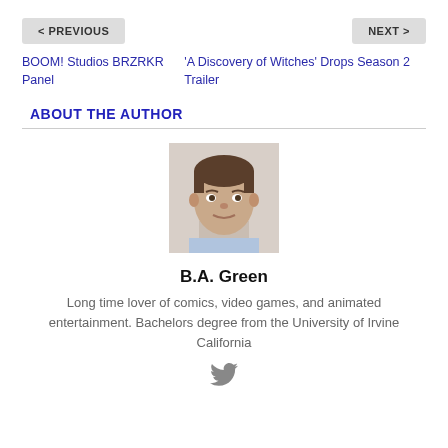< PREVIOUS
NEXT >
BOOM! Studios BRZRKR Panel
'A Discovery of Witches' Drops Season 2 Trailer
ABOUT THE AUTHOR
[Figure (photo): Headshot photo of author B.A. Green, a man with short brown hair facing the camera.]
B.A. Green
Long time lover of comics, video games, and animated entertainment. Bachelors degree from the University of Irvine California
[Figure (logo): Twitter bird icon in gray]